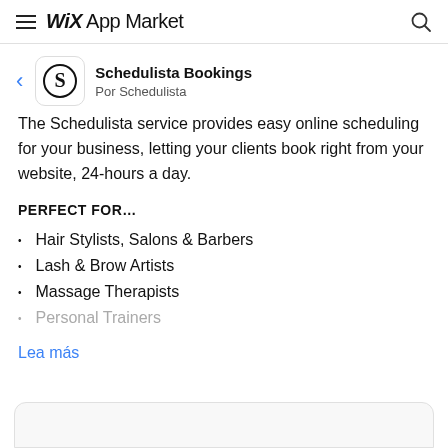WiX App Market
Schedulista Bookings
Por Schedulista
The Schedulista service provides easy online scheduling for your business, letting your clients book right from your website, 24-hours a day.
PERFECT FOR…
Hair Stylists, Salons & Barbers
Lash & Brow Artists
Massage Therapists
Personal Trainers
Lea más